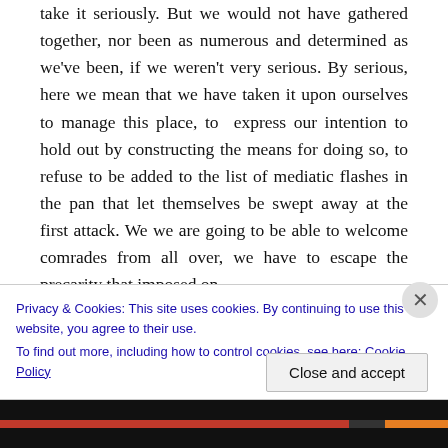take it seriously. But we would not have gathered together, nor been as numerous and determined as we've been, if we weren't very serious. By serious, here we mean that we have taken it upon ourselves to manage this place, to express our intention to hold out by constructing the means for doing so, to refuse to be added to the list of mediatic flashes in the pan that let themselves be swept away at the first attack. We we are going to be able to welcome comrades from all over, we have to escape the precarity that imposed on
Privacy & Cookies: This site uses cookies. By continuing to use this website, you agree to their use.
To find out more, including how to control cookies, see here: Cookie Policy
Close and accept